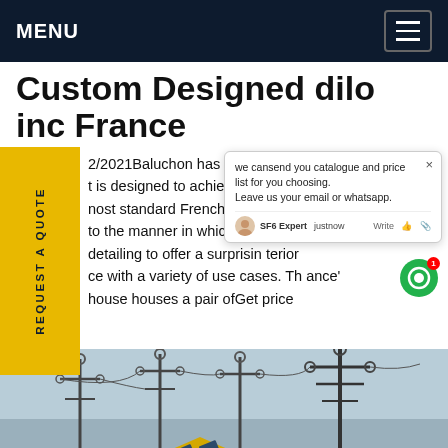MENU
Custom Designed dilo inc France
2/2021Baluchon has revealed a m... lling t is designed to achieve a size th... able nost standard French tiny home... s to the manner in which it uses i... sign detailing to offer a surprisin... terior ce with a variety of use cases. Th... ance' house houses a pair ofGet price
[Figure (photo): Outdoor scene with electrical power towers, poles, and what appears to be a yellow tiny house structure in the foreground. Sky visible in the background.]